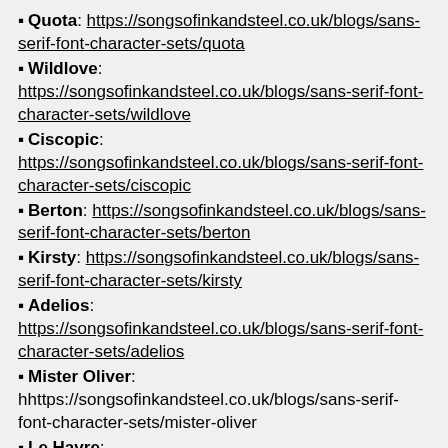Quota: https://songsofinkandsteel.co.uk/blogs/sans-serif-font-character-sets/quota
Wildlove: https://songsofinkandsteel.co.uk/blogs/sans-serif-font-character-sets/wildlove
Ciscopic: https://songsofinkandsteel.co.uk/blogs/sans-serif-font-character-sets/ciscopic
Berton: https://songsofinkandsteel.co.uk/blogs/sans-serif-font-character-sets/berton
Kirsty: https://songsofinkandsteel.co.uk/blogs/sans-serif-font-character-sets/kirsty
Adelios: https://songsofinkandsteel.co.uk/blogs/sans-serif-font-character-sets/adelios
Mister Oliver: hhttps://songsofinkandsteel.co.uk/blogs/sans-serif-font-character-sets/mister-oliver
Le Havre: https://songsofinkandsteel.co.uk/blogs/sans-serif-font-character-sets/le-havre
Catalyst: https://songsofinkandsteel.co.uk/blogs/sans-serif-font-character-sets/...